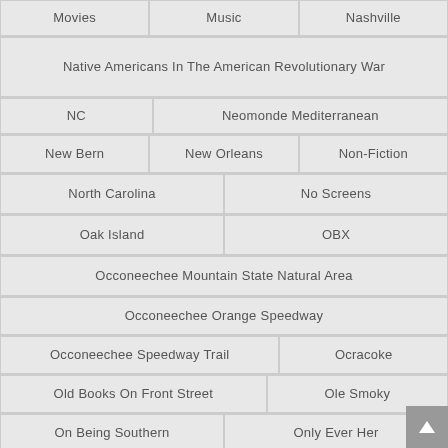Movies | Music | Nashville
Native Americans In The American Revolutionary War
NC | Neomonde Mediterranean
New Bern | New Orleans | Non-Fiction
North Carolina | No Screens
Oak Island | OBX
Occoneechee Mountain State Natural Area
Occoneechee Orange Speedway
Occoneechee Speedway Trail | Ocracoke
Old Books On Front Street | Ole Smoky
On Being Southern | Only Ever Her
Outer Banks | Otherland